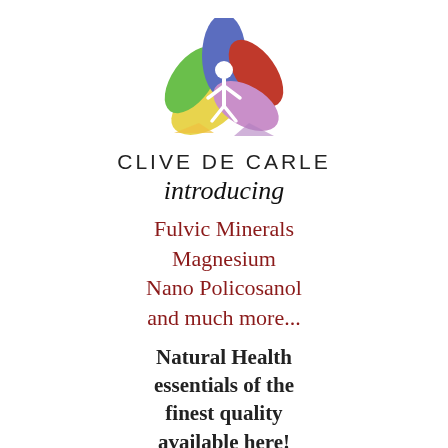[Figure (logo): Clive De Carle colorful lotus/yoga figure logo with green, yellow, blue, red, pink and purple petal shapes and a white human figure in the center]
CLIVE DE CARLE
introducing
Fulvic Minerals
Magnesium
Nano Policosanol
and much more...
Natural Health essentials of the finest quality available here!
CLIVEDECARLЕ.COM